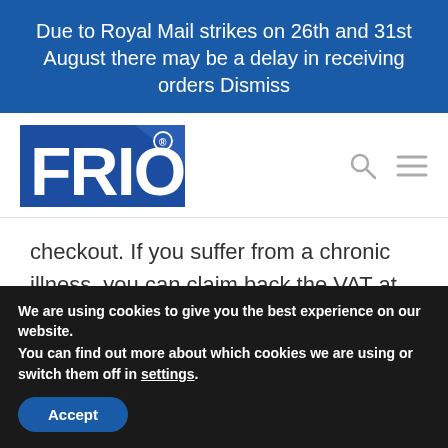Due to Royal Mail strikes on 26th and 31st August there may be a delay in receiving orders Dismiss
[Figure (logo): FRIO logo — white letters on blue rectangular background]
checkout. If you suffer from a chronic illness, you can claim back the VAT at checkout FRIO the
We are using cookies to give you the best experience on our website.
You can find out more about which cookies we are using or switch them off in settings.
Accept